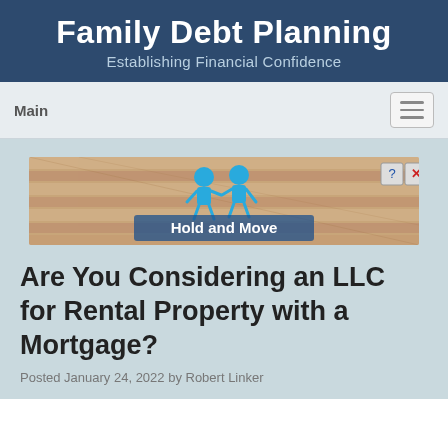Family Debt Planning
Establishing Financial Confidence
Main
[Figure (screenshot): Advertisement banner showing 'Hold and Move' with cartoon figures on a wooden surface background, with close and help buttons in top right corner]
Are You Considering an LLC for Rental Property with a Mortgage?
Posted January 24, 2022 by Robert Linker